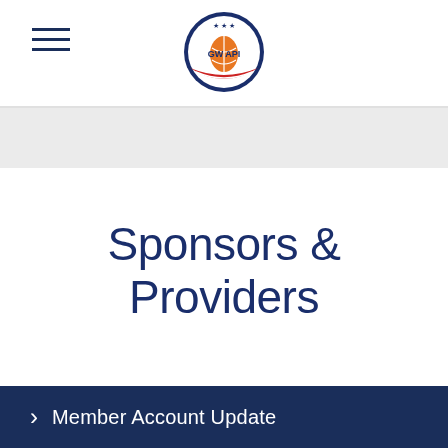GWOAPI logo and navigation menu
Sponsors & Providers
> Member Account Update